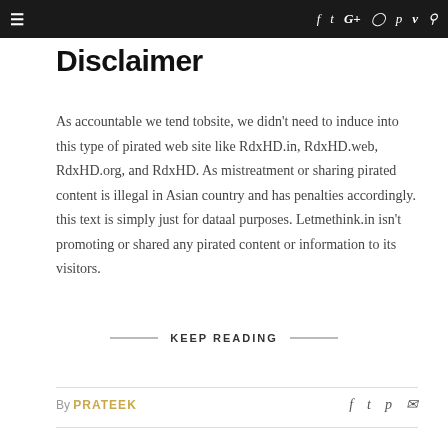≡  f  t  G+  ✉  p  v  🔍
Disclaimer
As accountable we tend tobsite, we didn't need to induce into this type of pirated web site like RdxHD.in, RdxHD.web, RdxHD.org, and RdxHD. As mistreatment or sharing pirated content is illegal in Asian country and has penalties accordingly. this text is simply just for dataal purposes. Letmethink.in isn't promoting or shared any pirated content or information to its visitors.
KEEP READING
By PRATEEK